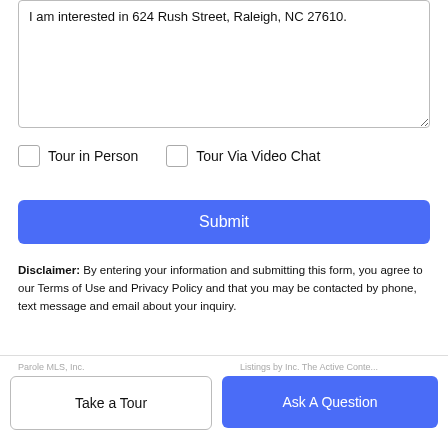I am interested in 624 Rush Street, Raleigh, NC 27610.
Tour in Person
Tour Via Video Chat
Submit
Disclaimer: By entering your information and submitting this form, you agree to our Terms of Use and Privacy Policy and that you may be contacted by phone, text message and email about your inquiry.
Take a Tour
Ask A Question